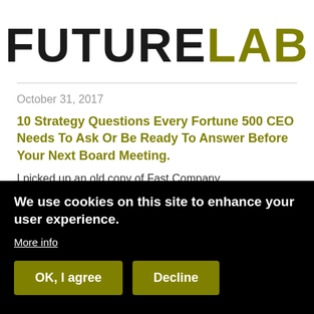[Figure (logo): FutureLab logo with FUTURE in black and LAB in olive/dark yellow, large bold text]
October 31, 2017
10 Strategy Questions Every Fortune 500 CEO Needs To Ask Or Be Ready To Answer Before Your Next Board Meeting.
I picked up an old copy of Fast Company
We use cookies on this site to enhance your user experience.
More info
OK, I agree
Decline